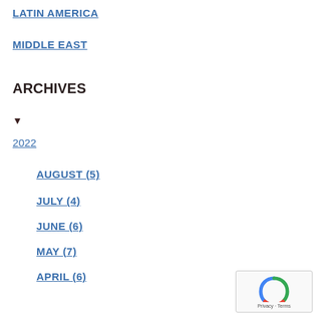LATIN AMERICA
MIDDLE EAST
ARCHIVES
▼
2022
AUGUST (5)
JULY (4)
JUNE (6)
MAY (7)
APRIL (6)
MARCH (14)
FEBRUARY (8)
JANUARY (2)